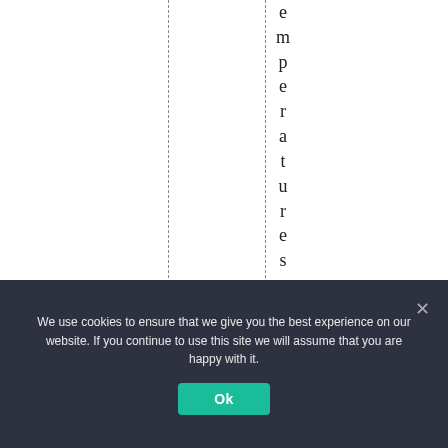[Figure (other): A portion of a scientific table or chart with two vertical dashed lines and a column header or axis label reading 'temperatures were ab...' (text continues off-page) written vertically, one character per line.]
We use cookies to ensure that we give you the best experience on our website. If you continue to use this site we will assume that you are happy with it.